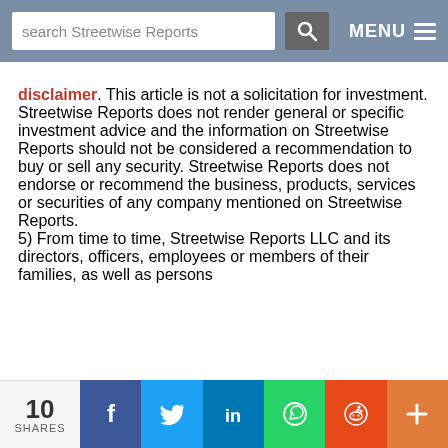search Streetwise Reports | MENU
disclaimer. This article is not a solicitation for investment. Streetwise Reports does not render general or specific investment advice and the information on Streetwise Reports should not be considered a recommendation to buy or sell any security. Streetwise Reports does not endorse or recommend the business, products, services or securities of any company mentioned on Streetwise Reports.
5) From time to time, Streetwise Reports LLC and its directors, officers, employees or members of their families, as well as persons
10 SHARES | Facebook | Twitter | LinkedIn | WhatsApp | Reddit | Plus